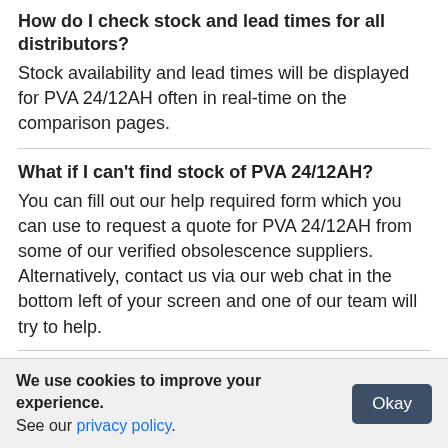How do I check stock and lead times for all distributors?
Stock availability and lead times will be displayed for PVA 24/12AH often in real-time on the comparison pages.
What if I can't find stock of PVA 24/12AH?
You can fill out our help required form which you can use to request a quote for PVA 24/12AH from some of our verified obsolescence suppliers. Alternatively, contact us via our web chat in the bottom left of your screen and one of our team will try to help.
We use cookies to improve your experience. See our privacy policy.